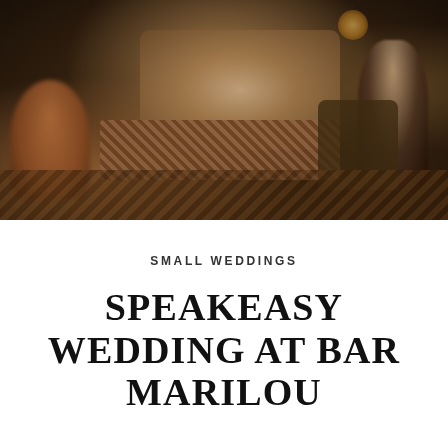[Figure (photo): Dark, moody photograph of a speakeasy-style interior with people seated on patterned ottomans and vintage furniture, warm amber and brown tones, bokeh/blurred background, intimate gathering scene.]
SMALL WEDDINGS
SPEAKEASY WEDDING AT BAR MARILOU